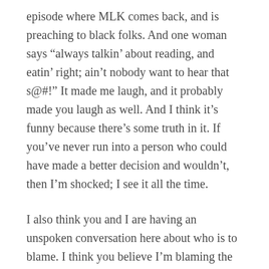episode where MLK comes back, and is preaching to black folks. And one woman says “always talkin’ about reading, and eatin’ right; ain’t nobody want to hear that s@#!” It made me laugh, and it probably made you laugh as well. And I think it’s funny because there’s some truth in it. If you’ve never run into a person who could have made a better decision and wouldn’t, then I’m shocked; I see it all the time.
I also think you and I are having an unspoken conversation here about who is to blame. I think you believe I’m blaming the victim, while I believe that you don’t give the victim enough agency. That theme is often running in the background of many of our debates...